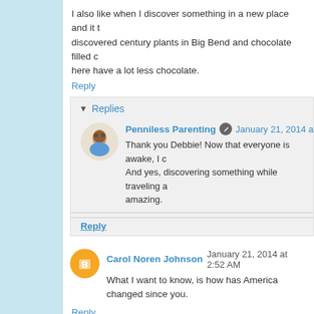I also like when I discover something in a new place and it t... discovered century plants in Big Bend and chocolate filled c... here have a lot less chocolate.
Reply
Replies
Penniless Parenting  January 21, 2014 at 7:3...
Thank you Debbie! Now that everyone is awake, I c... And yes, discovering something while traveling a... amazing.
Reply
Carol Noren Johnson  January 21, 2014 at 2:52 AM
What I want to know, is how has America changed since you...
Reply
Replies
Penniless Parenting  January 21, 2014 at 3...